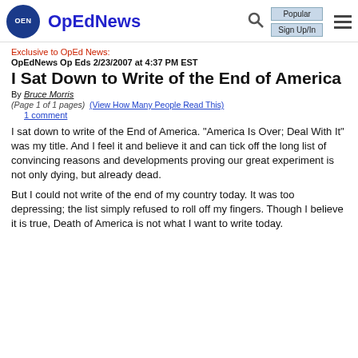OpEdNews
Exclusive to OpEd News:
OpEdNews Op Eds 2/23/2007 at 4:37 PM EST
I Sat Down to Write of the End of America
By Bruce Morris
(Page 1 of 1 pages)  (View How Many People Read This)
1 comment
I sat down to write of the End of America. "America Is Over; Deal With It" was my title. And I feel it and believe it and can tick off the long list of convincing reasons and developments proving our great experiment is not only dying, but already dead.
But I could not write of the end of my country today. It was too depressing; the list simply refused to roll off my fingers. Though I believe it is true, Death of America is not what I want to write today.